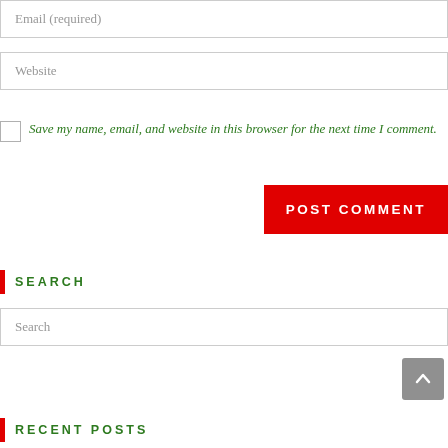Email (required)
Website
Save my name, email, and website in this browser for the next time I comment.
POST COMMENT
SEARCH
Search
RECENT POSTS